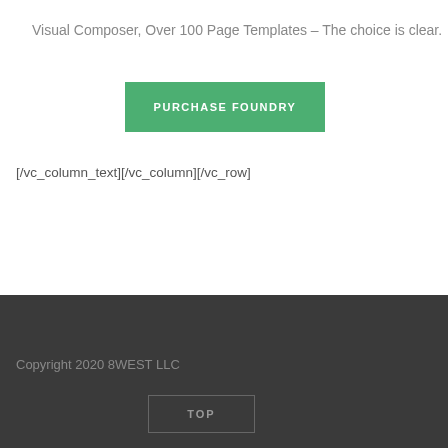Visual Composer, Over 100 Page Templates – The choice is clear.
[Figure (other): Green button labeled PURCHASE FOUNDRY]
[/vc_column_text][/vc_column][/vc_row]
Copyright 2020 8WEST LLC
[Figure (other): TOP button with border]